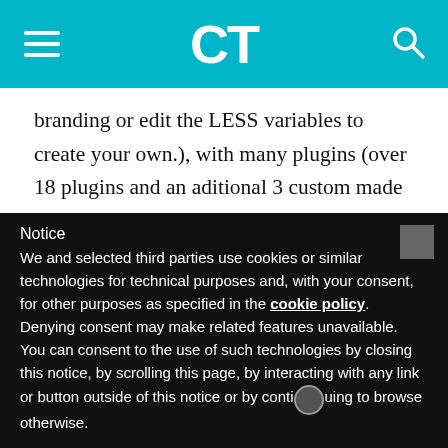CT (logo navigation bar)
branding or edit the LESS variables to create your own.), with many plugins (over 18 plugins and an aditional 3 custom made plugins just for AdminLTE.), responsive design, over 1,000 icons, and much more.
Have a live preview to see AdminLTE in action.
16. ServicesLanding – Bootstrap Landing Page Template
Notice
We and selected third parties use cookies or similar technologies for technical purposes and, with your consent, for other purposes as specified in the cookie policy. Denying consent may make related features unavailable.
You can consent to the use of such technologies by closing this notice, by scrolling this page, by interacting with any link or button outside of this notice or by continuing to browse otherwise.